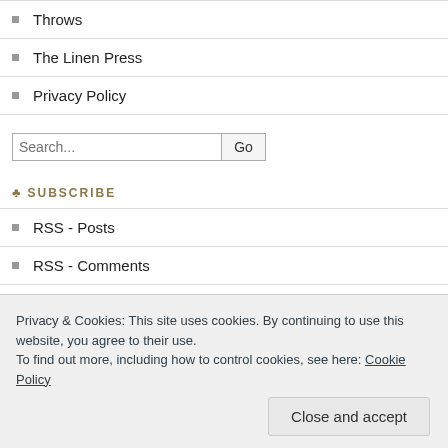Throws
The Linen Press
Privacy Policy
Search...
SUBSCRIBE
RSS - Posts
RSS - Comments
ARCHIVES
September 2020 (2)
October 2019 (1)
Privacy & Cookies: This site uses cookies. By continuing to use this website, you agree to their use.
To find out more, including how to control cookies, see here: Cookie Policy
Close and accept